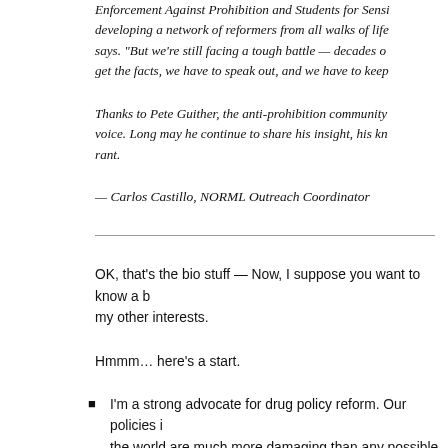Enforcement Against Prohibition and Students for Sensible developing a network of reformers from all walks of life says. "But we're still facing a tough battle — decades o get the facts, we have to speak out, and we have to keep
Thanks to Pete Guither, the anti-prohibition community a voice. Long may he continue to share his insight, his kno rant.
— Carlos Castillo, NORML Outreach Coordinator
OK, that's the bio stuff — Now, I suppose you want to know a b my other interests.
Hmmm… here's a start.
I'm a strong advocate for drug policy reform. Our policies i the world are much more damaging than any possible dama Enforcement approaches make drug dealers and drug warrio